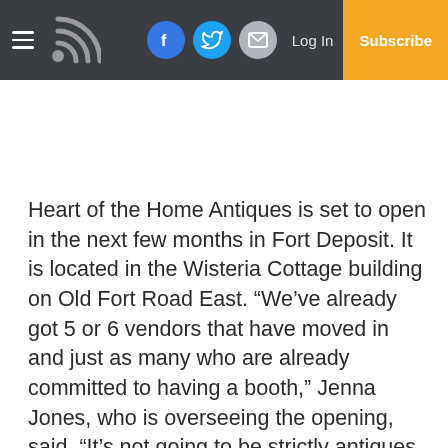Log In | Subscribe
Heart of the Home Antiques is set to open in the next few months in Fort Deposit. It is located in the Wisteria Cottage building on Old Fort Road East. “We’ve already got 5 or 6 vendors that have moved in and just as many who are already committed to having a booth,” Jenna Jones, who is overseeing the opening, said. “It’s not going to be strictly antiques. We want crafts and homemade/handmade goods. We have one lady